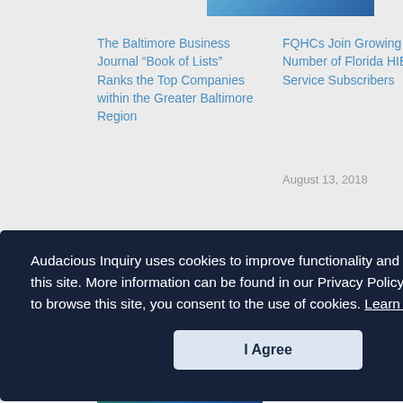[Figure (photo): Blue/teal image strip at top right of page]
The Baltimore Business Journal “Book of Lists” Ranks the Top Companies within the Greater Baltimore Region
October 9, 2017
FQHCs Join Growing Number of Florida HIE Service Subscribers
August 13, 2018
[Figure (photo): Partial thumbnail image with text 'ounter Notification Service']
Audacious Inquiry uses cookies to improve functionality and performance of this site. More information can be found in our Privacy Policy. By continuing to browse this site, you consent to the use of cookies. Learn more
I Agree